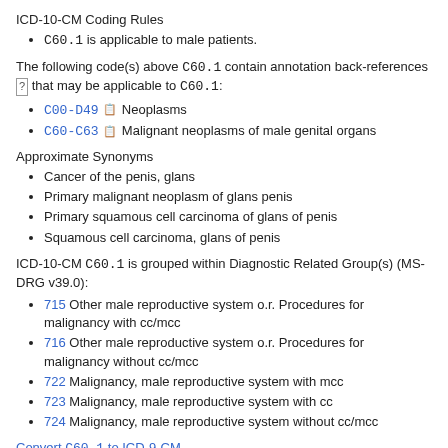ICD-10-CM Coding Rules
C60.1 is applicable to male patients.
The following code(s) above C60.1 contain annotation back-references [?] that may be applicable to C60.1:
C00-D49  Neoplasms
C60-C63  Malignant neoplasms of male genital organs
Approximate Synonyms
Cancer of the penis, glans
Primary malignant neoplasm of glans penis
Primary squamous cell carcinoma of glans of penis
Squamous cell carcinoma, glans of penis
ICD-10-CM C60.1 is grouped within Diagnostic Related Group(s) (MS-DRG v39.0):
715 Other male reproductive system o.r. Procedures for malignancy with cc/mcc
716 Other male reproductive system o.r. Procedures for malignancy without cc/mcc
722 Malignancy, male reproductive system with mcc
723 Malignancy, male reproductive system with cc
724 Malignancy, male reproductive system without cc/mcc
Convert C60.1 to ICD-9-CM